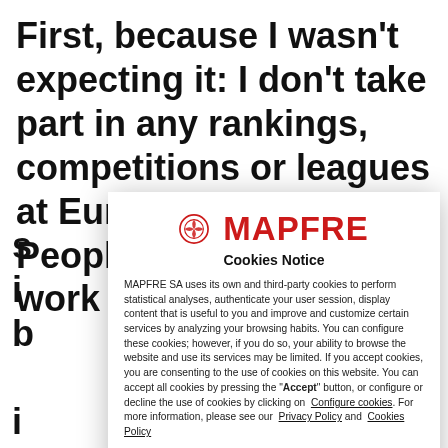First, because I wasn't expecting it: I don't take part in any rankings, competitions or leagues at European level. People recognize your work when it is having s... i... b... i... th... si... w... a... (... a... p... c...
[Figure (other): MAPFRE Cookies Notice modal dialog overlay. Contains the MAPFRE logo (circular emblem + red bold wordmark), 'Cookies Notice' subtitle, privacy/cookie consent text, links to 'Configure cookies', 'Privacy Policy', and 'Cookies Policy', and a red 'Accept' button at the bottom.]